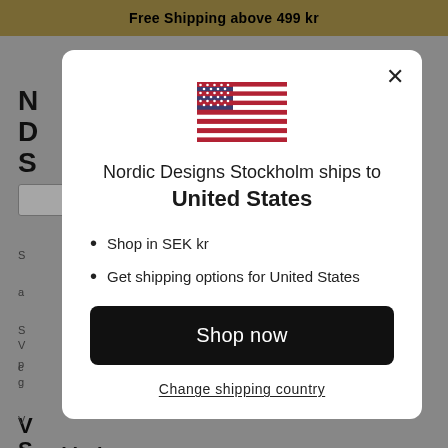Free Shipping above 499 kr
[Figure (screenshot): Background website with logo NDS and search bar]
[Figure (illustration): United States flag emoji]
Nordic Designs Stockholm ships to United States
Shop in SEK kr
Get shipping options for United States
Shop now
Change shipping country